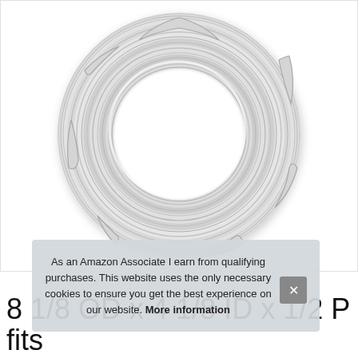[Figure (photo): Decorative white ceiling medallion with ornate floral and acanthus leaf relief patterns, circular shape with hollow center, shown against white background]
As an Amazon Associate I earn from qualifying purchases. This website uses the only necessary cookies to ensure you get the best experience on our website. More information
8 1/8 OD x 4 1/8 ID x 1/2 P fits